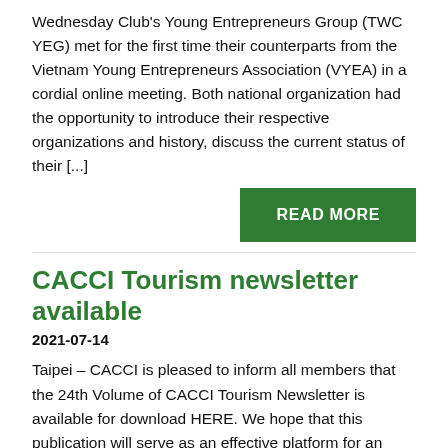Wednesday Club's Young Entrepreneurs Group (TWC YEG) met for the first time their counterparts from the Vietnam Young Entrepreneurs Association (VYEA) in a cordial online meeting. Both national organization had the opportunity to introduce their respective organizations and history, discuss the current status of their [...]
READ MORE
CACCI Tourism newsletter available
2021-07-14
Taipei – CACCI is pleased to inform all members that the 24th Volume of CACCI Tourism Newsletter is available for download HERE. We hope that this publication will serve as an effective platform for an exchange of information among the tourism sector in the CACCI region. Members are, therefore, encouraged to contribute articles for our future issues. [...]